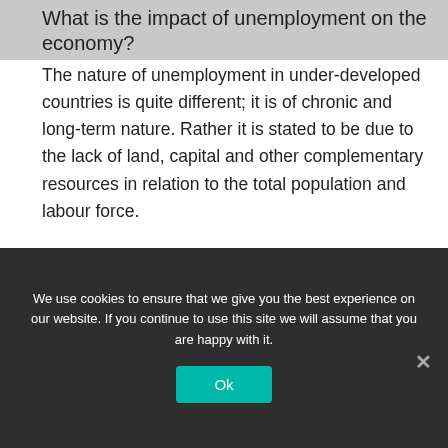What is the impact of unemployment on the economy?
The nature of unemployment in under-developed countries is quite different; it is of chronic and long-term nature. Rather it is stated to be due to the lack of land, capital and other complementary resources in relation to the total population and labour force.
Is there any difference between unemployment in rural and urban areas?
Rural unemployment refers to unemployment that exists in rural areas. It is primarily a phenomenon of the
We use cookies to ensure that we give you the best experience on our website. If you continue to use this site we will assume that you are happy with it.